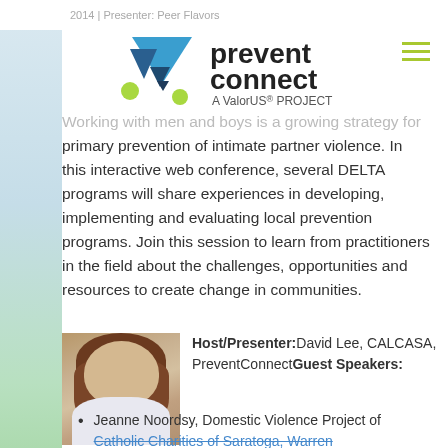2014 | Presenter: Peer Flavors
[Figure (logo): PreventConnect logo with blue geometric shapes and text 'prevent connect A ValorUS PROJECT']
Working with men and boys is a growing strategy for primary prevention of intimate partner violence. In this interactive web conference, several DELTA programs will share experiences in developing, implementing and evaluating local prevention programs. Join this session to learn from practitioners in the field about the challenges, opportunities and resources to create change in communities.
[Figure (photo): Photo of a woman with curly brown hair, smiling, wearing a white top]
Host/Presenter: David Lee, CALCASA, PreventConnect Guest Speakers:
Jeanne Noordsy, Domestic Violence Project of Catholic Charities of Saratoga, Warren